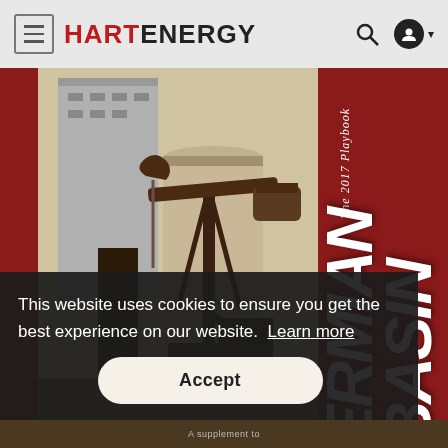HART ENERGY
[Figure (photo): Hart Energy website screenshot showing the Permian Basin 2017 Playbook cover with a pump jack photo on red background, partially obscured by a cookie consent overlay.]
This website uses cookies to ensure you get the best experience on our website. Learn more
Accept